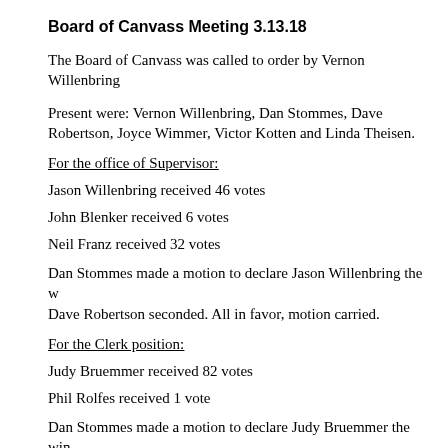Board of Canvass Meeting 3.13.18
The Board of Canvass was called to order by Vernon Willenbring
Present were: Vernon Willenbring, Dan Stommes, Dave Robertson, Joyce Wimmer, Victor Kotten and Linda Theisen.
For the office of Supervisor:
Jason Willenbring received 46 votes
John Blenker received 6 votes
Neil Franz received 32 votes
Dan Stommes made a motion to declare Jason Willenbring the winner. Dave Robertson seconded. All in favor, motion carried.
For the Clerk position:
Judy Bruemmer received 82 votes
Phil Rolfes received 1 vote
Dan Stommes made a motion to declare Judy Bruemmer the winner. Dave Robertson seconded. All in favor, motion carried.